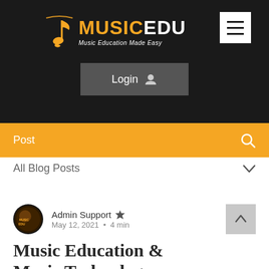MUSICEDU - Music Education Made Easy
Login
Post
All Blog Posts
Admin Support · May 12, 2021 · 4 min
Music Education & Music Technology Blogs